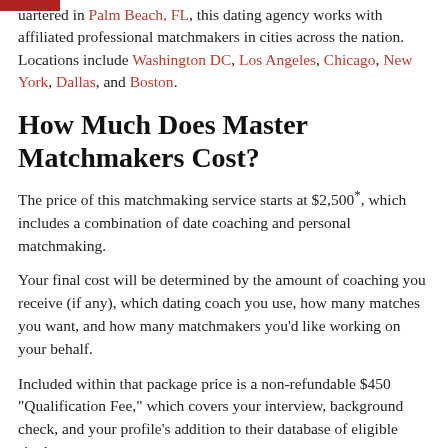uartered in Palm Beach, FL, this dating agency works with affiliated professional matchmakers in cities across the nation. Locations include Washington DC, Los Angeles, Chicago, New York, Dallas, and Boston.
How Much Does Master Matchmakers Cost?
The price of this matchmaking service starts at $2,500*, which includes a combination of date coaching and personal matchmaking.
Your final cost will be determined by the amount of coaching you receive (if any), which dating coach you use, how many matches you want, and how many matchmakers you'd like working on your behalf.
Included within that package price is a non-refundable $450 "Qualification Fee," which covers your interview, background check, and your profile's addition to their database of eligible singles.
How Master Matchmakers Works